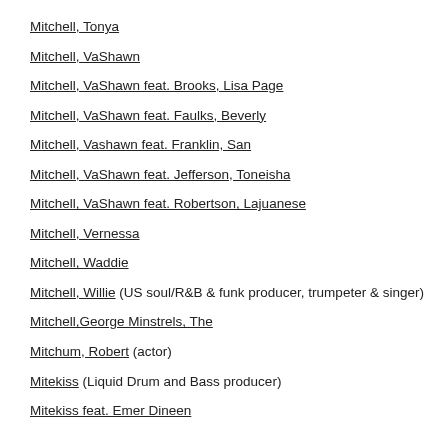Mitchell, Tonya
Mitchell, VaShawn
Mitchell, VaShawn feat. Brooks, Lisa Page
Mitchell, VaShawn feat. Faulks, Beverly
Mitchell, Vashawn feat. Franklin, San
Mitchell, VaShawn feat. Jefferson, Toneisha
Mitchell, VaShawn feat. Robertson, Lajuanese
Mitchell, Vernessa
Mitchell, Waddie
Mitchell, Willie (US soul/R&B & funk producer, trumpeter & singer)
Mitchell,George Minstrels, The
Mitchum, Robert (actor)
Mitekiss (Liquid Drum and Bass producer)
Mitekiss feat. Emer Dineen